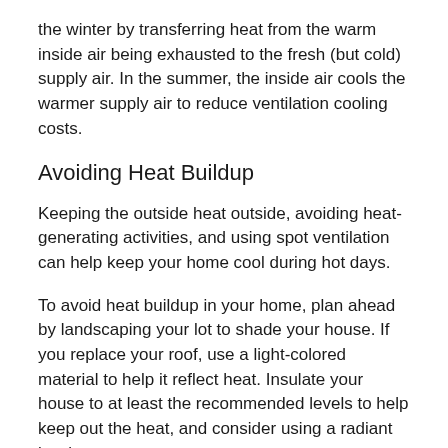the winter by transferring heat from the warm inside air being exhausted to the fresh (but cold) supply air. In the summer, the inside air cools the warmer supply air to reduce ventilation cooling costs.
Avoiding Heat Buildup
Keeping the outside heat outside, avoiding heat-generating activities, and using spot ventilation can help keep your home cool during hot days.
To avoid heat buildup in your home, plan ahead by landscaping your lot to shade your house. If you replace your roof, use a light-colored material to help it reflect heat. Insulate your house to at least the recommended levels to help keep out the heat, and consider using a radiant barrier.
On hot days, whenever outdoor temperatures are higher than the temperature inside your house, close tightly all the windows and exterior doors. Also, install window shades or other window treatments and